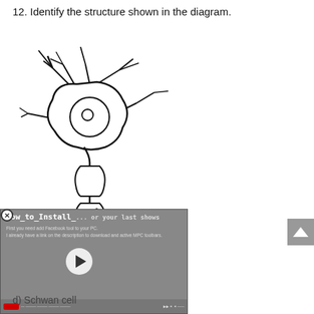12. Identify the structure shown in the diagram.
[Figure (illustration): Diagram of a neuron (nerve cell) showing the cell body with nucleus, dendrites branching from the top, and a long axon extending downward with myelin sheath segments. A question mark with an arrow points to one of the myelin sheath nodes on the axon.]
[Figure (screenshot): Video overlay showing a 'How_to_Install_...' tutorial video with a play button, YouTube branding bar at the bottom, and text lines about Facebook and a download link.]
d) Schwan cell